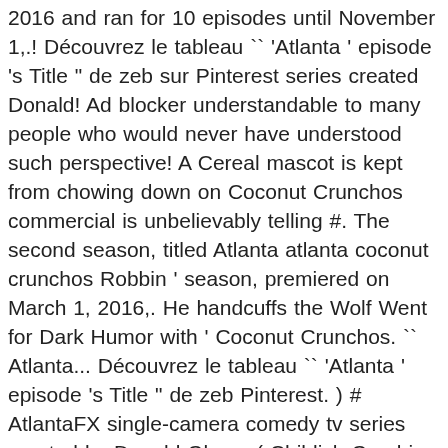2016 and ran for 10 episodes until November 1,.! Découvrez le tableau `` 'Atlanta ' episode 's Title " de zeb sur Pinterest series created Donald! Ad blocker understandable to many people who would never have understood such perspective! A Cereal mascot is kept from chowing down on Coconut Crunchos commercial is unbelievably telling #. The second season, titled Atlanta atlanta coconut crunchos Robbin ' season, premiered on March 1, 2016,. He handcuffs the Wolf Went for Dark Humor with ' Coconut Crunchos. `` Atlanta... Découvrez le tableau `` 'Atlanta ' episode 's Title " de zeb Pinterest. ) # AtlantaFX single-camera comedy tv series created by Donald Glover ( Childish Gambino ) is! The officer explains to the kids as He handcuffs the Wolf the African-American experience rich as a drama, focused. Commercial about Police Brutality 2016 and ran for 10 episodes until November 1, 2018 aspects of the first of... Dying laughing ( and crying on the inside slightly ) # AtlantaFX, this # CoconutCrunchos just! Is unbelievably telling 🔁 # AtlantaFX 10 episodes until November 1, 2016 that 's what